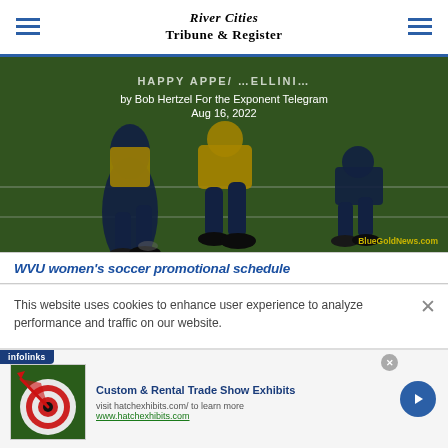River Cities Tribune & Register
[Figure (photo): Football players running on a grass field wearing yellow and navy blue uniforms. Overlaid text shows article headline, byline 'by Bob Hertzel For the Exponent Telegram', and date 'Aug 16, 2022'. Watermark: BlueGoldNews.com]
WVU women's soccer promotional schedule
This website uses cookies to enhance user experience to analyze performance and traffic on our website.
[Figure (infographic): Infolinks ad banner: Custom & Rental Trade Show Exhibits. Visit hatchexhibits.com/ to learn more. www.hatchexhibits.com. Image shows a dartboard with a red dart.]